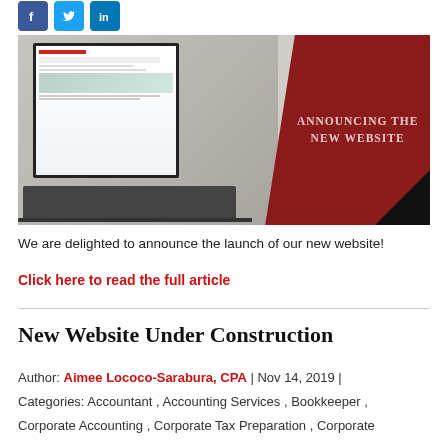[Figure (logo): Social media icons: Facebook (blue), Twitter (light blue), LinkedIn (blue)]
[Figure (photo): Hero image of a laptop showing a new website, with a dark red panel on the right reading 'ANNOUNCING THE NEW WEBSITE' and a black triangle in the bottom right corner.]
We are delighted to announce the launch of our new website!
Click here to read the full article
New Website Under Construction
Author: Aimee Lococo-Sarabura, CPA | Nov 14, 2019 |
Categories: Accountant , Accounting Services , Bookkeeper , Corporate Accounting , Corporate Tax Preparation , Corporate